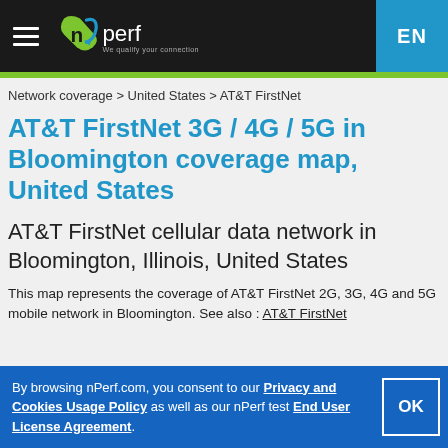nperf — We qualify your connection | EN
Network coverage > United States > AT&T FirstNet
AT&T FirstNet 3G / 4G / 5G in Bloomington coverage map, United States
AT&T FirstNet cellular data network in Bloomington, Illinois, United States
This map represents the coverage of AT&T FirstNet 2G, 3G, 4G and 5G mobile network in Bloomington. See also : AT&T FirstNet ...
By browsing nPerf.com, you consent to our Privacy and Cookies Usage Policy as well as our nPerf test End User License Agreement.